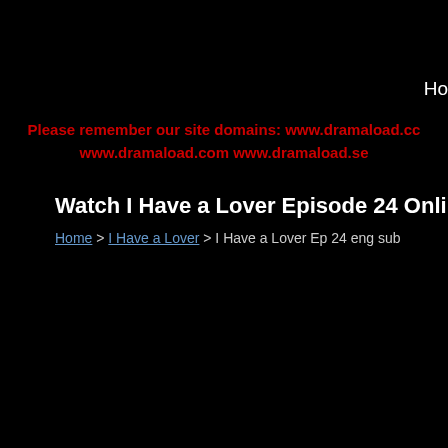Ho
Please remember our site domains: www.dramaload.cc www.dramaload.com www.dramaload.se
Watch I Have a Lover Episode 24 Online F
Home > I Have a Lover > I Have a Lover Ep 24 eng sub